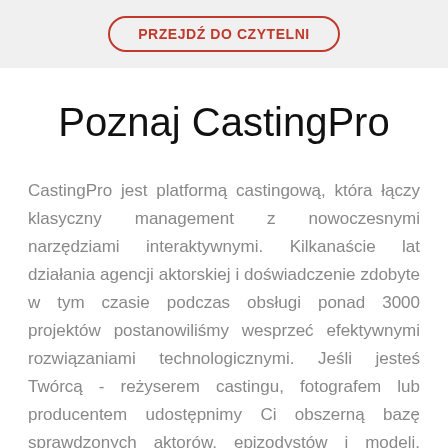PRZEJDŹ DO CZYTELNI
Poznaj CastingPro
CastingPro jest platformą castingową, która łączy klasyczny management z nowoczesnymi narzędziami interaktywnymi. Kilkanaście lat działania agencji aktorskiej i doświadczenie zdobyte w tym czasie podczas obsługi ponad 3000 projektów postanowiliśmy wesprzeć efektywnymi rozwiązaniami technologicznymi. Jeśli jesteś Twórcą - reżyserem castingu, fotografem lub producentem udostępnimy Ci obszerną bazę sprawdzonych aktorów, epizodystów i modeli. Otrzymasz również dostęp do demo aktorskich, video z castingu i zdjęć wizerunkowych